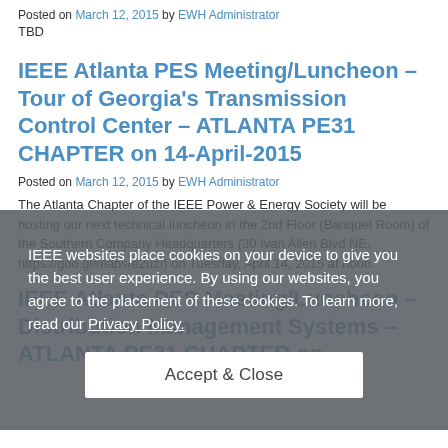Posted on March 12, 2015 by EWH Administrator
TBD
IEEE Atlanta PES Meeting/Luncheon – Tour of Georgia's Transmission Control Center – ATLANTA PE31 CHAPTER on 14-April-2015
Posted on March 12, 2015 by EWH Administrator
The Atlanta Chapter of the IEEE Power & Energy Society will be hosting our next technical luncheon in the 2nd Floor (Banquet Room) of the Southern Company Headquarters (30 Ivan Allen Blvd NE, https://goo.gl/maps/e2uzI) on Tuesday, April 14, 2015 at noon.
IEEE websites place cookies on your device to give you the best user experience. By using our websites, you agree to the placement of these cookies. To learn more, read our Privacy Policy.
Accept & Close
IEEE Atlanta PES Meeting/Luncheon – Distribution Management Systems – ATLANTA PE31 CHAPTER on…